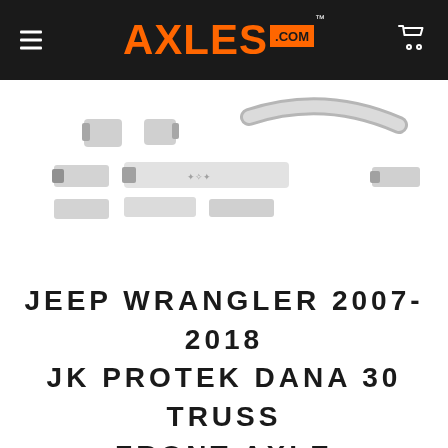AXLES.COM
[Figure (photo): Product photo of Jeep Wrangler JK Protek Dana 30 Truss Front Axle kit components — multiple metal plates, brackets, and a curved truss piece shown on white background]
JEEP WRANGLER 2007-2018 JK PROTEK DANA 30 TRUSS FRONT AXLE